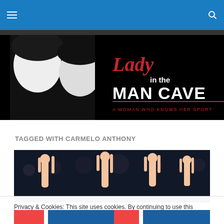Navigation bar with hamburger menu and search icon
[Figure (logo): Lady in the Man Cave website banner — black and white photo of women on left, script text 'Lady' in red cursive, 'IN THE MAN CAVE' in bold white on black, subtitle 'A WOMAN WHO KNOWS HER SPORT']
TAGGED WITH CARMELO ANTHONY
[Figure (photo): Basketball fans at a game raising hands making an OK/three-point gesture, dark arena background]
Privacy & Cookies: This site uses cookies. By continuing to use this website, you agree to their use.
To find out more, including how to control cookies, see here: Cookie Policy
Close and accept